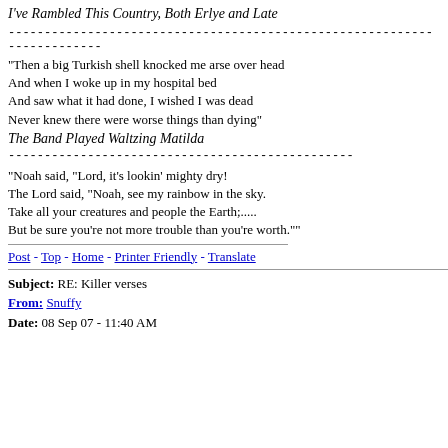I've Rambled This Country, Both Erlye and Late
------------------------------------------------------------------------
"Then a big Turkish shell knocked me arse over head
And when I woke up in my hospital bed
And saw what it had done, I wished I was dead
Never knew there were worse things than dying"
The Band Played Waltzing Matilda
------------------------------------------------
"Noah said, "Lord, it's lookin' mighty dry!
The Lord said, "Noah, see my rainbow in the sky.
Take all your creatures and people the Earth;.....
But be sure you're not more trouble than you're worth.""
Post - Top - Home - Printer Friendly - Translate
Subject: RE: Killer verses
From: Snuffy
Date: 08 Sep 07 - 11:40 AM